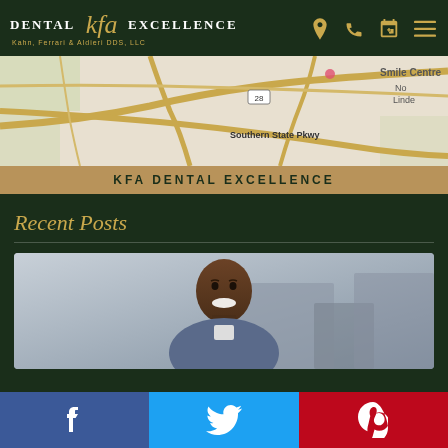Dental KFA Excellence | Kahn, Ferrari & Aldieri DDS, LLC
[Figure (map): Google Maps embed showing Southern State Pkwy area with road network]
KFA DENTAL EXCELLENCE
Recent Posts
[Figure (photo): Smiling young Black man in denim jacket against blurred urban background]
Facebook | Twitter | Pinterest social share buttons